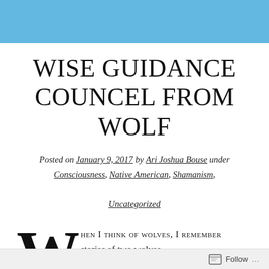WISE GUIDANCE COUNCEL FROM WOLF
Posted on January 9, 2017 by Ari Joshua Bouse under Consciousness, Native American, Shamanism, Uncategorized
When I think of wolves, I remember stories of two wolves
Follow